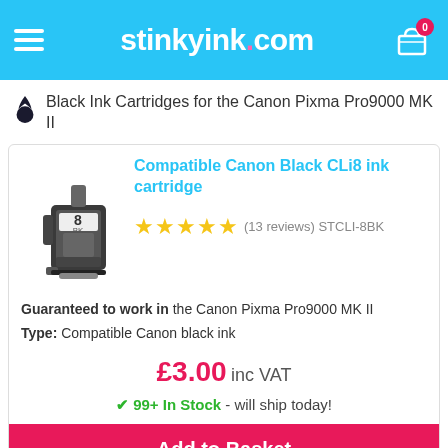stinkyink.com
Black Ink Cartridges for the Canon Pixma Pro9000 MK II
[Figure (photo): Canon CLi8 black ink cartridge product photo]
Compatible Canon Black CLi8 ink cartridge
(13 reviews) STCLI-8BK
Guaranteed to work in the Canon Pixma Pro9000 MK II
Type: Compatible Canon black ink
£3.00 inc VAT
99+ In Stock - will ship today!
Add to Basket